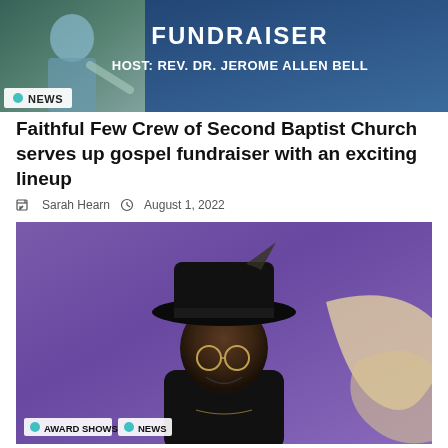[Figure (photo): Top banner image with dark teal/blue gradient background showing a person and text 'FUNDRAISER HOST: REV. DR. JEROME ALLEN BELL' with a NEWS tag]
Faithful Few Crew of Second Baptist Church serves up gospel fundraiser with an exciting lineup
Sarah Hearn  August 1, 2022
[Figure (photo): Man with large black hat, beard, and glasses smiling against a purple background wearing a black suit, with AWARD SHOWS and NEWS tags at bottom left]